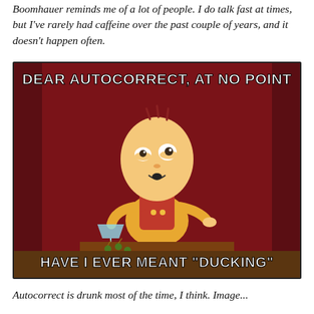Boomhauer reminds me of a lot of people. I do talk fast at times, but I've rarely had caffeine over the past couple of years, and it doesn't happen often.
[Figure (illustration): A meme featuring Stewie Griffin from Family Guy, sitting drunk at a bar holding a martini glass, with scattered olives on the counter. Dark red background. Top text reads 'DEAR AUTOCORRECT, AT NO POINT' and bottom text reads 'HAVE I EVER MEANT "DUCKING"']
Autocorrect is drunk most of the time, I think. Image...